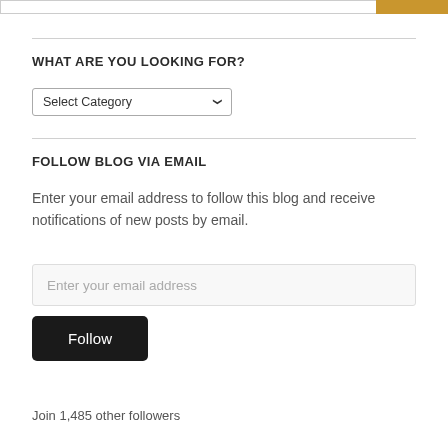WHAT ARE YOU LOOKING FOR?
Select Category
FOLLOW BLOG VIA EMAIL
Enter your email address to follow this blog and receive notifications of new posts by email.
Enter your email address
Follow
Join 1,485 other followers